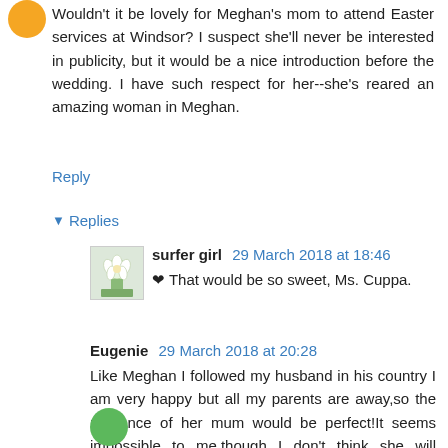Wouldn't it be lovely for Meghan's mom to attend Easter services at Windsor? I suspect she'll never be interested in publicity, but it would be a nice introduction before the wedding. I have such respect for her--she's reared an amazing woman in Meghan.
Reply
▼ Replies
surfer girl 29 March 2018 at 18:46
❤ That would be so sweet, Ms. Cuppa.
Eugenie 29 March 2018 at 20:28
Like Meghan I followed my husband in his country I am very happy but all my parents are away,so the presence of her mum would be perfect!It seems impossible to me,though I don't think she will attend.